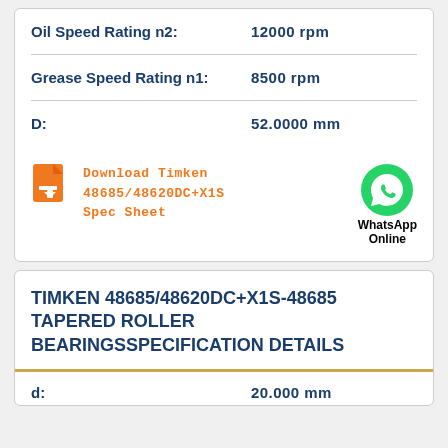| Property | Value |
| --- | --- |
| Oil Speed Rating n2: | 12000 rpm |
| Grease Speed Rating n1: | 8500 rpm |
| D: | 52.0000 mm |
Download Timken 48685/48620DC+X1S Spec Sheet
[Figure (logo): WhatsApp green circle logo with phone icon, labeled WhatsApp Online]
TIMKEN 48685/48620DC+X1S-48685 TAPERED ROLLER BEARINGSSPECIFICATION DETAILS
| Property | Value |
| --- | --- |
| d: | 20.000 mm |